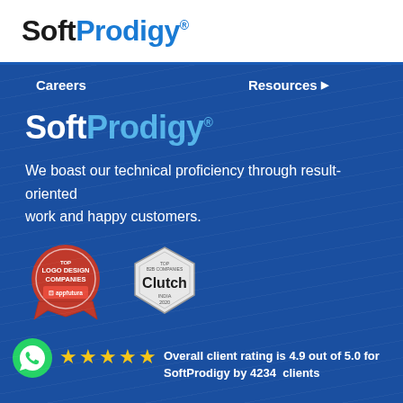[Figure (logo): SoftProdigy logo with 'Soft' in black bold and 'Prodigy' in blue bold, with registered trademark symbol]
Careers   Resources ▶
[Figure (logo): SoftProdigy logo in white and light blue on dark blue background with registered trademark symbol]
We boast our technical proficiency through result-oriented work and happy customers.
[Figure (infographic): Two award badges: 'TOP LOGO DESIGN COMPANIES appfutura' (red circular badge) and 'TOP B2B COMPANIES Clutch INDIA 2020' (hexagonal grey badge)]
Overall client rating is 4.9 out of 5.0 for SoftProdigy by 4234  clients